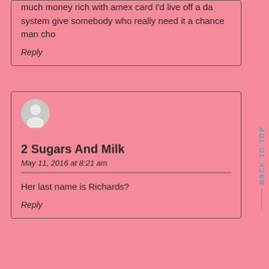much money rich with amex card I'd live off a da system give somebody who really need it a chance man cho
Reply
[Figure (illustration): Gray circular avatar icon of a generic person silhouette]
2 Sugars And Milk
May 11, 2016 at 8:21 am
Her last name is Richards?
Reply
BACK TO TOP